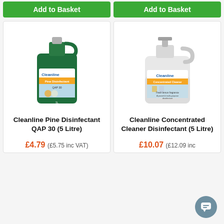Add to Basket
Add to Basket
[Figure (photo): Cleanline Pine Disinfectant QAP 30 5 litre green bottle with Cleanline label and orange band]
[Figure (photo): Cleanline Concentrated Cleaner Disinfectant 5 litre white bottle with Cleanline label and orange band]
Cleanline Pine Disinfectant QAP 30 (5 Litre)
Cleanline Concentrated Cleaner Disinfectant (5 Litre)
£4.79 (£5.75 inc VAT)
£10.07 (£12.09 inc VAT)